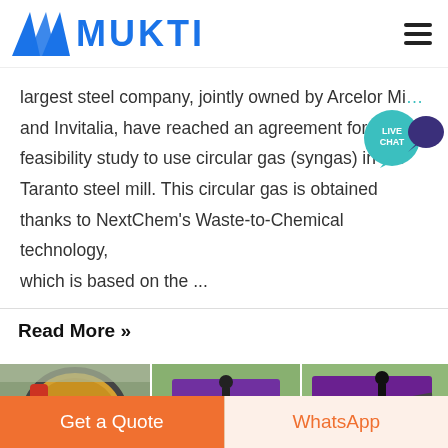MUKTI
largest steel company, jointly owned by Arcelor Mi… and Invitalia, have reached an agreement for a feasibility study to use circular gas (syngas) in the Taranto steel mill. This circular gas is obtained thanks to NextChem's Waste-to-Chemical technology, which is based on the ...
Read More »
[Figure (photo): Three industrial machinery photos: a ball mill (yellow/green), and two conveyor/crusher equipment images in outdoor settings.]
Get a Quote
WhatsApp